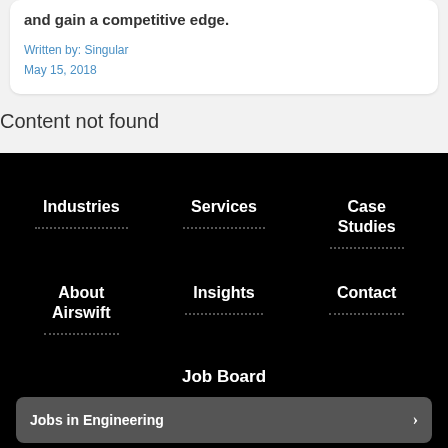and gain a competitive edge.
Written by: Singular
May 15, 2018
Content not found
Industries
Services
Case Studies
About Airswift
Insights
Contact
Job Board
Jobs in Engineering
Jobs in Technology